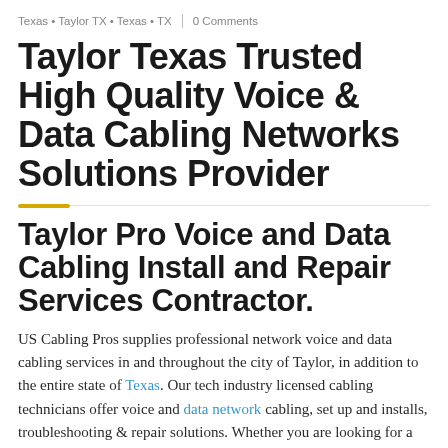Texas • Taylor TX • Texas • TX | 0 Comments
Taylor Texas Trusted High Quality Voice & Data Cabling Networks Solutions Provider
Taylor Pro Voice and Data Cabling Install and Repair Services Contractor.
US Cabling Pros supplies professional network voice and data cabling services in and throughout the city of Taylor, in addition to the entire state of Texas. Our tech industry licensed cabling technicians offer voice and data network cabling, set up and installs, troubleshooting & repair solutions. Whether you are looking for a single cable drop or